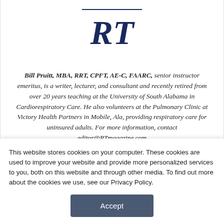[Figure (logo): RT magazine logo — horizontal rule above bold italic 'RT' text in dark navy]
Bill Pruitt, MBA, RRT, CPFT, AE-C, FAARC, senior instructor emeritus, is a writer, lecturer, and consultant and recently retired from over 20 years teaching at the University of South Alabama in Cardiorespiratory Care. He also volunteers at the Pulmonary Clinic at Victory Health Partners in Mobile, Ala, providing respiratory care for uninsured adults. For more information, contact editor@RTmagazine.com
This website stores cookies on your computer. These cookies are used to improve your website and provide more personalized services to you, both on this website and through other media. To find out more about the cookies we use, see our Privacy Policy.